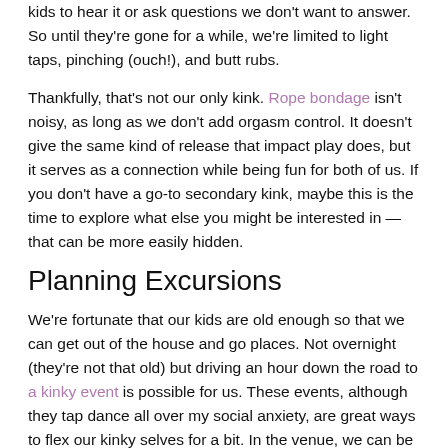kids to hear it or ask questions we don't want to answer. So until they're gone for a while, we're limited to light taps, pinching (ouch!), and butt rubs.
Thankfully, that's not our only kink. Rope bondage isn't noisy, as long as we don't add orgasm control. It doesn't give the same kind of release that impact play does, but it serves as a connection while being fun for both of us. If you don't have a go-to secondary kink, maybe this is the time to explore what else you might be interested in — that can be more easily hidden.
Planning Excursions
We're fortunate that our kids are old enough so that we can get out of the house and go places. Not overnight (they're not that old) but driving an hour down the road to a kinky event is possible for us. These events, although they tap dance all over my social anxiety, are great ways to flex our kinky selves for a bit. In the venue, we can be Daddy and babygirl.